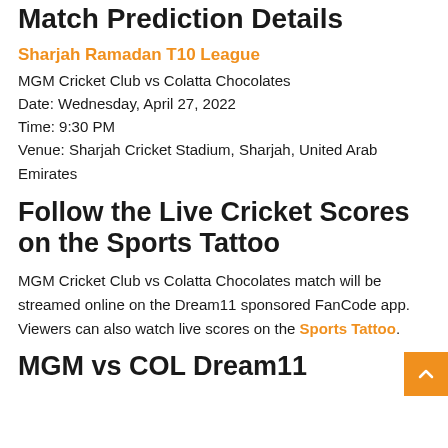Match Prediction Details
Sharjah Ramadan T10 League
MGM Cricket Club vs Colatta Chocolates
Date: Wednesday, April 27, 2022
Time: 9:30 PM
Venue: Sharjah Cricket Stadium, Sharjah, United Arab Emirates
Follow the Live Cricket Scores on the Sports Tattoo
MGM Cricket Club vs Colatta Chocolates match will be streamed online on the Dream11 sponsored FanCode app. Viewers can also watch live scores on the Sports Tattoo.
MGM vs COL Dream11